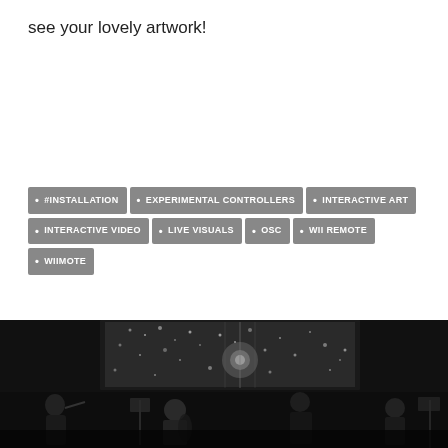see your lovely artwork!
• #INSTALLATION  • EXPERIMENTAL CONTROLLERS  • INTERACTIVE ART  • INTERACTIVE VIDEO  • LIVE VISUALS  • OSC  • WII REMOTE  • WIIMOTE
[Figure (photo): Black and white photo of musicians performing in a darkened venue with a large projection screen showing a glittering light display behind them. Several musicians with instruments including cello and woodwinds are visible.]